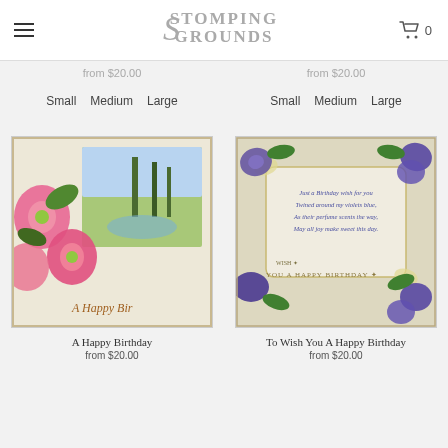Stomping Grounds
from $20.00
from $20.00
Small  Medium  Large
Small  Medium  Large
[Figure (photo): Vintage birthday postcard with pink flowers and landscape scene, text reads 'A Happy Bir...']
[Figure (photo): Vintage birthday postcard with purple violets surrounding a scroll with birthday verse and text 'To Wish You A Happy Birthday']
A Happy Birthday
from $20.00
To Wish You A Happy Birthday
from $20.00